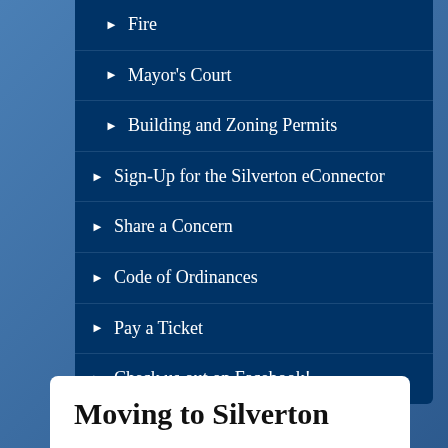Fire
Mayor's Court
Building and Zoning Permits
Sign-Up for the Silverton eConnector
Share a Concern
Code of Ordinances
Pay a Ticket
Check us out on Facebook!
Moving to Silverton